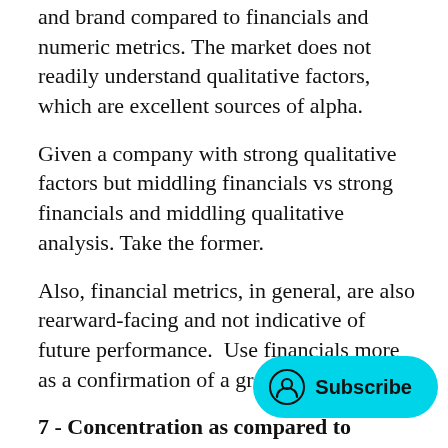and brand compared to financials and numeric metrics. The market does not readily understand qualitative factors, which are excellent sources of alpha.
Given a company with strong qualitative factors but middling financials vs strong financials and middling qualitative analysis. Take the former.
Also, financial metrics, in general, are also rearward-facing and not indicative of future performance.  Use financials more as a confirmation of a great business.
7 - Concentration as compared to diversification
This principle is a controversial one. Buffet: Concentration is for building wealth, diversification protects it. I'm in the wealth-building